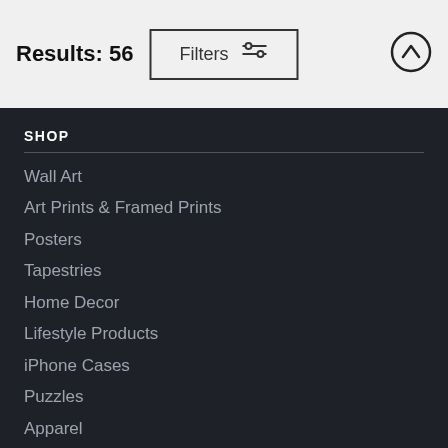Results: 56
Filters
SHOP
Wall Art
Art Prints & Framed Prints
Posters
Tapestries
Home Decor
Lifestyle Products
iPhone Cases
Puzzles
Apparel
Gift Cards
CREATE
Design Your Own Products
Photos to Paintings
Mail & Frame